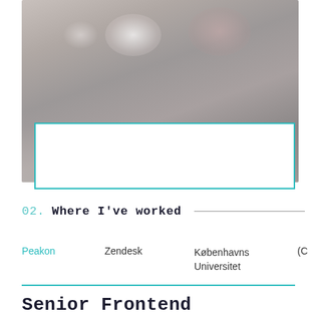[Figure (photo): Blurred indoor photo with bokeh lighting effects, teal/cyan border rectangle overlay in the lower right portion]
02.  Where I've worked
Peakon   Zendesk   Københavns Universitet   (C
Senior Frontend